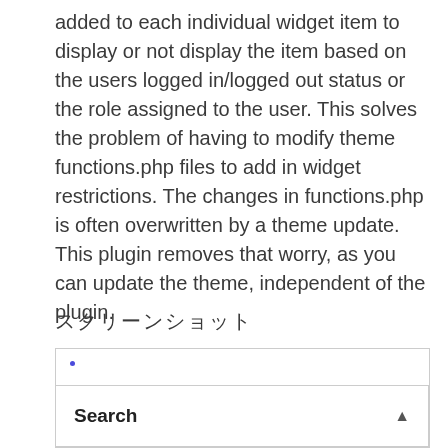added to each individual widget item to display or not display the item based on the users logged in/logged out status or the role assigned to the user. This solves the problem of having to modify theme functions.php files to add in widget restrictions. The changes in functions.php is often overwritten by a theme update. This plugin removes that worry, as you can update the theme, independent of the plugin.
スクリーンショット
[Figure (screenshot): A screenshot area with a small blue dot in the upper-left corner, and a Search widget bar with an upward arrow at the bottom.]